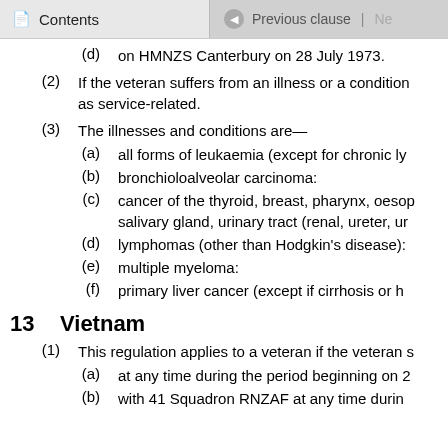Contents | Previous clause
(d) on HMNZS Canterbury on 28 July 1973.
(2) If the veteran suffers from an illness or a condition as service-related.
(3) The illnesses and conditions are—
(a) all forms of leukaemia (except for chronic ly
(b) bronchioloalveolar carcinoma:
(c) cancer of the thyroid, breast, pharynx, oesop salivary gland, urinary tract (renal, ureter, ur
(d) lymphomas (other than Hodgkin's disease):
(e) multiple myeloma:
(f) primary liver cancer (except if cirrhosis or h
13 Vietnam
(1) This regulation applies to a veteran if the veteran s
(a) at any time during the period beginning on 2
(b) with 41 Squadron RNZAF at any time durin